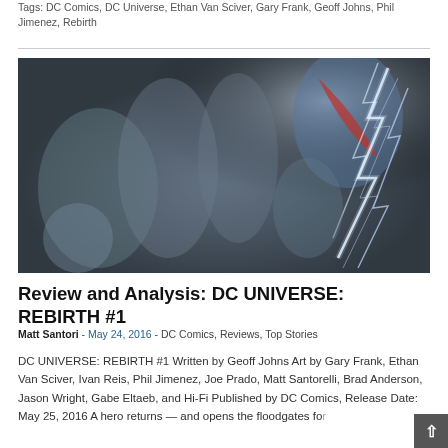Tags: DC Comics, DC Universe, Ethan Van Sciver, Gary Frank, Geoff Johns, Phil Jimenez, Rebirth
[Figure (illustration): Comic book artwork showing DC superheroes including Superman battling with lightning effects around them]
Review and Analysis: DC UNIVERSE: REBIRTH #1
Matt Santori - May 24, 2016 - DC Comics, Reviews, Top Stories
DC UNIVERSE: REBIRTH #1 Written by Geoff Johns Art by Gary Frank, Ethan Van Sciver, Ivan Reis, Phil Jimenez, Joe Prado, Matt Santorelli, Brad Anderson, Jason Wright, Gabe Eltaeb, and Hi-Fi Published by DC Comics, Release Date: May 25, 2016 A hero returns — and opens the floodgates for